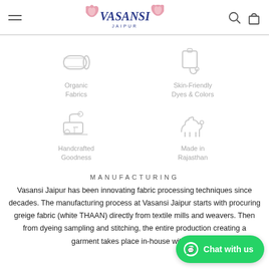[Figure (logo): Vasansi Jaipur logo with pink lotus flowers and blue brand name text]
[Figure (infographic): Four icons in a 2x2 grid: Organic Fabrics (fabric roll), Skin-Friendly Dyes & Colors (paint/dye icon), Handcrafted Goodness (sewing machine), Made in Rajasthan (camel)]
MANUFACTURING
Vasansi Jaipur has been innovating fabric processing techniques since decades. The manufacturing process at Vasansi Jaipur starts with procuring greige fabric (white THAAN) directly from textile mills and weavers. Then from dyeing sampling and stitching, the entire production creating a garment takes place in-house with us.